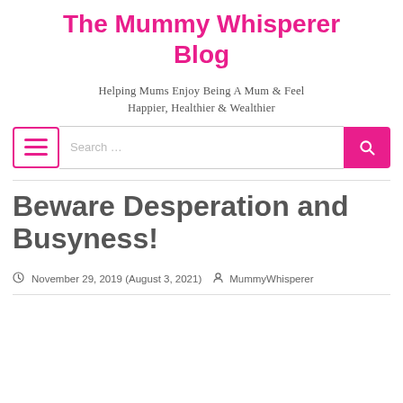The Mummy Whisperer Blog
Helping Mums Enjoy Being A Mum & Feel Happier, Healthier & Wealthier
[Figure (screenshot): Navigation bar with hamburger menu icon, search input field with placeholder 'Search...', and pink search button with magnifying glass icon]
Beware Desperation and Busyness!
November 29, 2019 (August 3, 2021)  MummyWhisperer